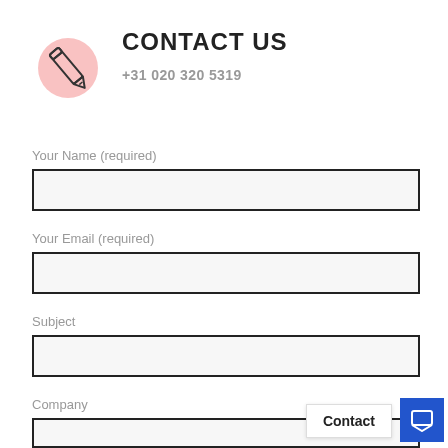[Figure (illustration): Pink circle with pencil/pen icon drawn in outline style]
CONTACT US
+31 020 320 5319
Your Name (required)
Your Email (required)
Subject
Company